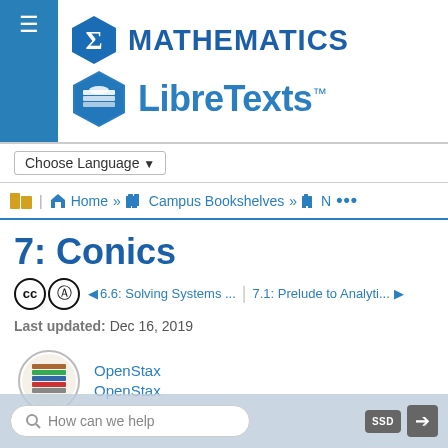[Figure (logo): Mathematics LibreTexts logo with hexagonal sigma icon and book stack icon]
Choose Language ▾
🗂 | 🏠 Home » 📚 Campus Bookshelves » 📚 N …
7: Conics
◄ 6.6: Solving Systems ...  |  7.1: Prelude to Analyti... ►
Last updated: Dec 16, 2019
OpenStax
OpenStax
How can we help